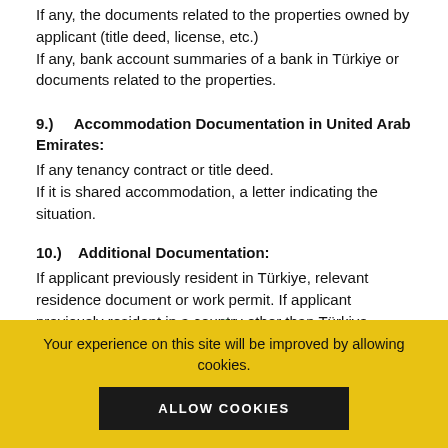If any, the documents related to the properties owned by applicant (title deed, license, etc.)
If any, bank account summaries of a bank in Türkiye or documents related to the properties.
9.)    Accommodation Documentation in United Arab Emirates:
If any tenancy contract or title deed.
If it is shared accommodation, a letter indicating the situation.
10.)    Additional Documentation:
If applicant previously resident in Türkiye, relevant residence document or work permit. If applicant previously resident in a country other than Türkiye, relevant residence document.If any, previously issued Türkiye visa.If any, current or previously issued Schengen/ USA/ UK visa.Applicants with dual citizenship are
[Figure (logo): Gateway Management Logistics Inc. logo watermark overlaid on text]
Your experience on this site will be improved by allowing cookies.
ALLOW COOKIES